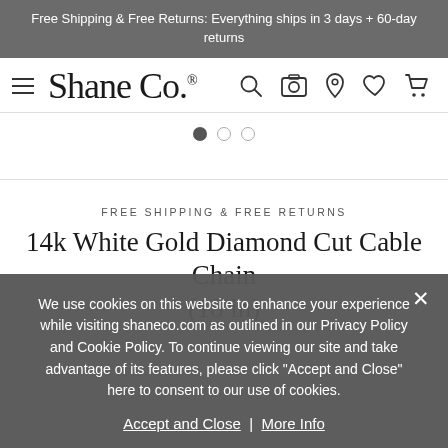Free Shipping & Free Returns: Everything ships in 3 days + 60-day returns
[Figure (logo): Shane Co. logo with hamburger menu icon on left and navigation icons (search, camera, location, heart, cart) on right]
[Figure (other): Carousel pagination dots: one filled dot and two empty dots]
FREE SHIPPING & FREE RETURNS
14k White Gold Diamond Cut Cable Chain (18 in)
We use cookies on this website to enhance your experience while visiting shaneco.com as outlined in our Privacy Policy and Cookie Policy. To continue viewing our site and take advantage of its features, please click "Accept and Close" here to consent to our use of cookies.
Accept and Close  |  More Info